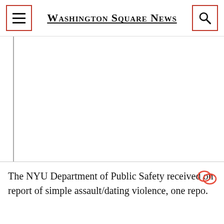Washington Square News
[Figure (photo): Large image placeholder area with a vertical gray rule on the left side; image content is blank/white.]
The NYU Department of Public Safety received one report of simple assault/dating violence, one repo...